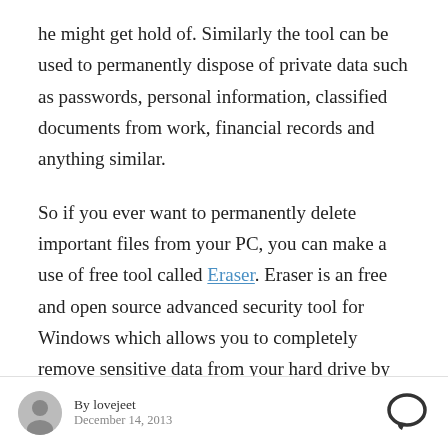he might get hold of. Similarly the tool can be used to permanently dispose of private data such as passwords, personal information, classified documents from work, financial records and anything similar.
So if you ever want to permanently delete important files from your PC, you can make a use of free tool called Eraser. Eraser is an free and open source advanced security tool for Windows which allows you to completely remove sensitive data from your hard drive by overwriting it several times with carefully
By lovejeet · December 14, 2013